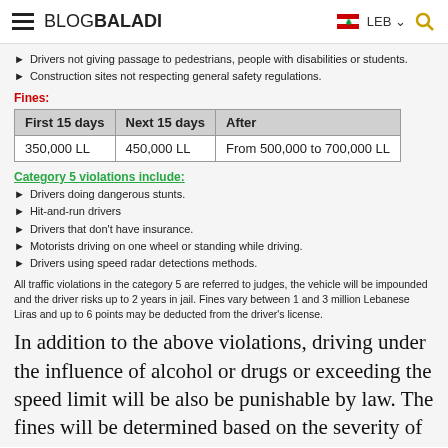BLOGBALADI | LEB
Drivers not giving passage to pedestrians, people with disabilities or students.
Construction sites not respecting general safety regulations.
Fines:
| First 15 days | Next 15 days | After |
| --- | --- | --- |
| 350,000 LL | 450,000 LL | From 500,000 to 700,000 LL |
Category 5 violations include:
Drivers doing dangerous stunts.
Hit-and-run drivers
Drivers that don't have insurance.
Motorists driving on one wheel or standing while driving.
Drivers using speed radar detections methods.
All traffic violations in the category 5 are referred to judges, the vehicle will be impounded and the driver risks up to 2 years in jail. Fines vary between 1 and 3 million Lebanese Liras and up to 6 points may be deducted from the driver's license.
In addition to the above violations, driving under the influence of alcohol or drugs or exceeding the speed limit will be also be punishable by law. The fines will be determined based on the severity of the violation.